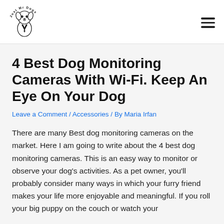[Figure (logo): Just Mr Dogs logo — a cartoon dog in a suit with tie, circular text reading 'Just Mr Dogs']
4 Best Dog Monitoring Cameras With Wi-Fi. Keep An Eye On Your Dog
Leave a Comment / Accessories / By Maria Irfan
There are many Best dog monitoring cameras on the market. Here I am going to write about the 4 best dog monitoring cameras. This is an easy way to monitor or observe your dog's activities. As a pet owner, you'll probably consider many ways in which your furry friend makes your life more enjoyable and meaningful. If you roll your big puppy on the couch or watch your